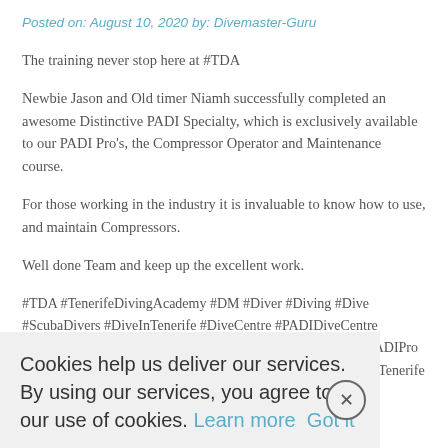Posted on: August 10, 2020 by: Divemaster-Guru
The training never stop here at #TDA
Newbie Jason and Old timer Niamh successfully completed an awesome Distinctive PADI Specialty, which is exclusively available to our PADI Pro’s, the Compressor Operator and Maintenance course.
For those working in the industry it is invaluable to know how to use, and maintain Compressors.
Well done Team and keep up the excellent work.
#TDA #TenerifeDivingAcademy #DM #Diver #Diving #Dive #ScubaDivers #DiveInTenerife #DiveCentre #PADIDiveCentre #BeTheBest #Coltri #Bauer #PADIDistinctive #Divemaster #PADIPro #PADIDivemaster #DivemasterInternshipTenerife #DivemasterTenerife #InternshipTenerife #Adventures #NumberOneAndProud #BiggestAndBest
https://tenerifedivingacademy.co… https://coursedirectortegerife.com/